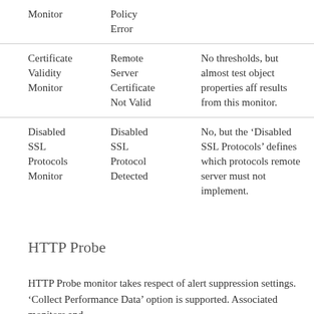| Monitor | Alert | Thresholds |
| --- | --- | --- |
| Monitor | Policy
Error |  |
| Certificate Validity Monitor | Remote Server Certificate Not Valid | No thresholds, but almost test object properties aff results from this monitor. |
| Disabled SSL Protocols Monitor | Disabled SSL Protocol Detected | No, but the ‘Disabled SSL Protocols’ defines which protocols remote server must not implement. |
HTTP Probe
HTTP Probe monitor takes respect of alert suppression settings. ‘Collect Performance Data’ option is supported. Associated monitors and rules: